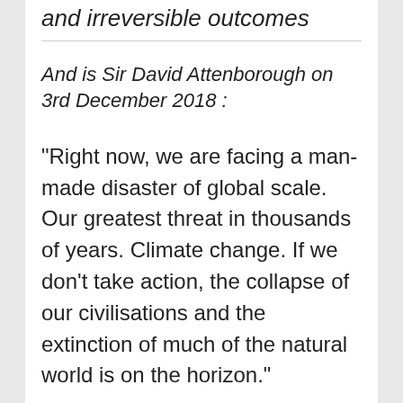and irreversible outcomes
And is Sir David Attenborough on 3rd December 2018 :
“Right now, we are facing a man-made disaster of global scale. Our greatest threat in thousands of years. Climate change. If we don’t take action, the collapse of our civilisations and the extinction of much of the natural world is on the horizon.”